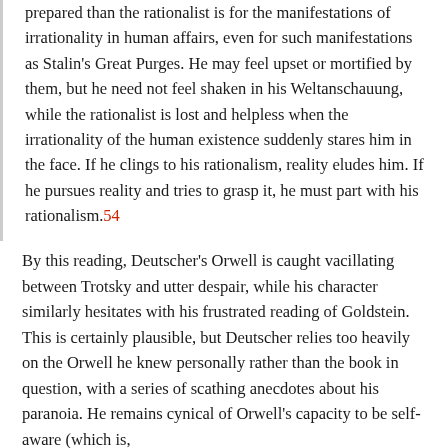prepared than the rationalist is for the manifestations of irrationality in human affairs, even for such manifestations as Stalin's Great Purges. He may feel upset or mortified by them, but he need not feel shaken in his Weltanschauung, while the rationalist is lost and helpless when the irrationality of the human existence suddenly stares him in the face. If he clings to his rationalism, reality eludes him. If he pursues reality and tries to grasp it, he must part with his rationalism.54
By this reading, Deutscher's Orwell is caught vacillating between Trotsky and utter despair, while his character similarly hesitates with his frustrated reading of Goldstein. This is certainly plausible, but Deutscher relies too heavily on the Orwell he knew personally rather than the book in question, with a series of scathing anecdotes about his paranoia. He remains cynical of Orwell's capacity to be self-aware (which is,